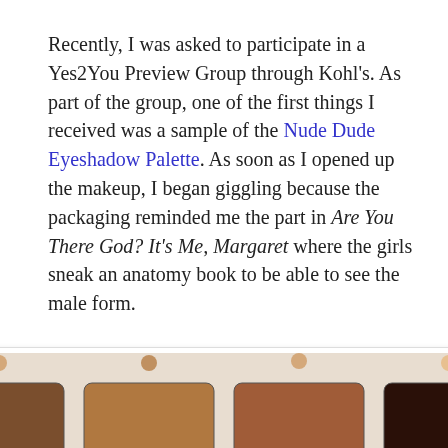Recently, I was asked to participate in a Yes2You Preview Group through Kohl's. As part of the group, one of the first things I received was a sample of the Nude Dude Eyeshadow Palette. As soon as I opened up the makeup, I began giggling because the packaging reminded me the part in Are You There God? It's Me, Margaret where the girls sneak an anatomy book to be able to see the male form.
[Figure (photo): Photo of the Nude Dude Eyeshadow Palette showing 8 eyeshadow shades in skin tones (Flawless, Firm, Flirty, Friendly, Faithful, Fit, Feisty, Funny) with illustrated male figures on the packaging and a makeup brush in front.]
The packaging is ironic and funny. But, more than anything else, I fell in love with this palette of eyeshadow because of the fantastic assortment of skin tone shades that accentuate the natural beauty in your eyes. It also comes with a brush that helps to blend the colors and a really great large mirror